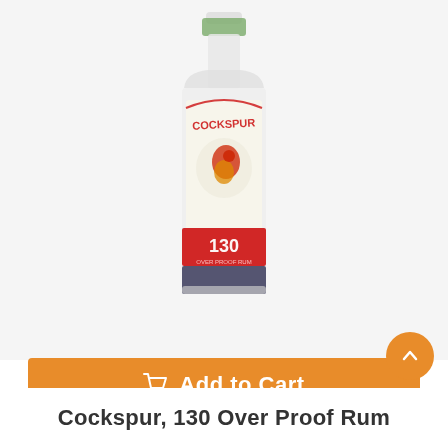[Figure (photo): A blurry/blurred product photo of a Cockspur 130 Over Proof Rum bottle on a white background. The bottle has a cream/white label with a red rooster mascot and the Cockspur brand name. A red band shows '130' and there is a navy blue band near the bottom.]
Add to Cart
Cockspur, 130 Over Proof Rum